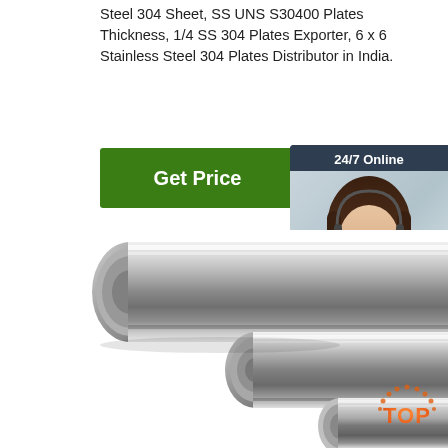Steel 304 Sheet, SS UNS S30400 Plates Thickness, 1/4 SS 304 Plates Exporter, 6 x 6 Stainless Steel 304 Plates Distributor in India.
[Figure (other): Green 'Get Price' button]
[Figure (other): Chat widget with '24/7 Online' header, customer service representative photo, 'Click here for free chat!' text, and orange 'QUOTATION' button]
[Figure (photo): Polished stainless steel round bars/rods arranged diagonally, showing reflective metallic surface]
[Figure (logo): Orange 'TOP' badge/logo in bottom right corner]